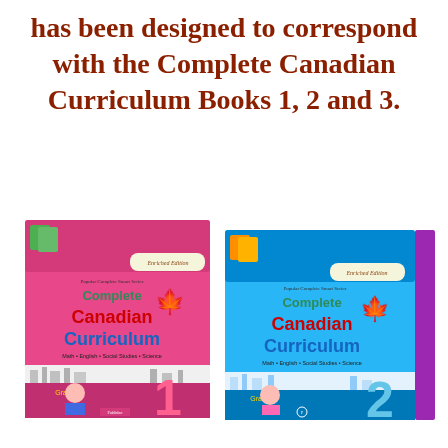has been designed to correspond with the Complete Canadian Curriculum Books 1, 2 and 3.
[Figure (photo): Two book covers of 'Complete Canadian Curriculum' - Grade 1 (pink cover with a boy) and Grade 2 (blue cover with a girl), described as Enriched Edition, covering Math, English, Social Studies, and Science.]